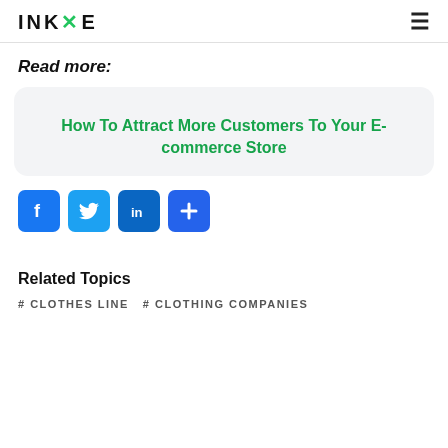INKXE
Read more:
How To Attract More Customers To Your E-commerce Store
[Figure (other): Social sharing buttons: Facebook, Twitter, LinkedIn, and a plus/share button]
Related Topics
# CLOTHES LINE   # CLOTHING COMPANIES